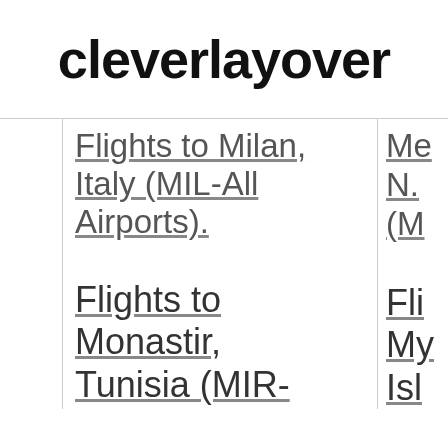cleverlayover
Flights to Milan, Italy (MIL-All Airports).
Flights to Monastir, Tunisia (MIR-